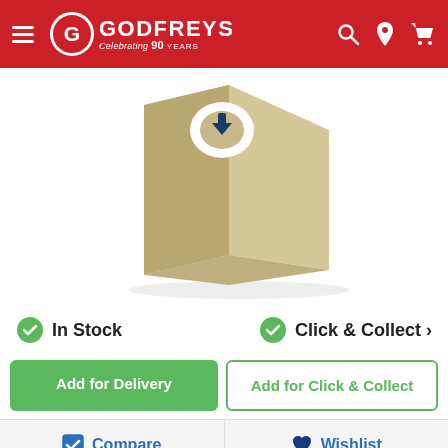[Figure (logo): Godfreys logo with circle G, 'Celebrating 90 Years' tagline on red header bar with hamburger menu, search, location, and cart icons]
[Figure (photo): A paper vacuum cleaner bag, beige/tan colored, triangular pyramid shape with white circular inlet ring and dark blue arrow pointing down on top]
In Stock
Click & Collect >
Add for Delivery
Add for Click & Collect
Compare
Wishlist